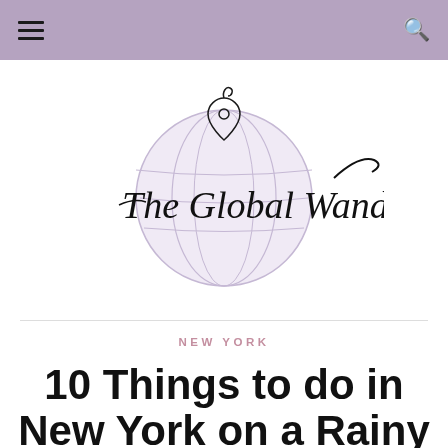≡  🔍
[Figure (logo): The Global Wanderess logo — a globe illustration in light lavender with a location pin at the top, overlaid with cursive script text reading 'The Global Wanderess']
NEW YORK
10 Things to do in New York on a Rainy